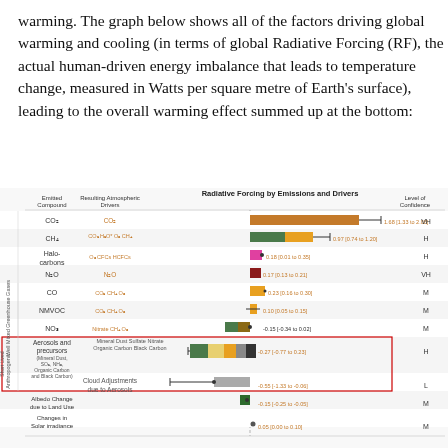warming. The graph below shows all of the factors driving global warming and cooling (in terms of global Radiative Forcing (RF), the actual human-driven energy imbalance that leads to temperature change, measured in Watts per square metre of Earth's surface), leading to the overall warming effect summed up at the bottom:
[Figure (bar-chart): Horizontal bar chart showing radiative forcing values for various emitted compounds and atmospheric drivers including CO2, CH4, Halocarbons, N2O, CO, NMVOC, NOx, Aerosols and precursors, Cloud Adjustments due to Aerosols, Albedo Change due to Land Use, and Changes in Solar irradiance. Values range from about -0.55 to 1.68 W/m2. Level of confidence indicated as VH, H, M, or L.]